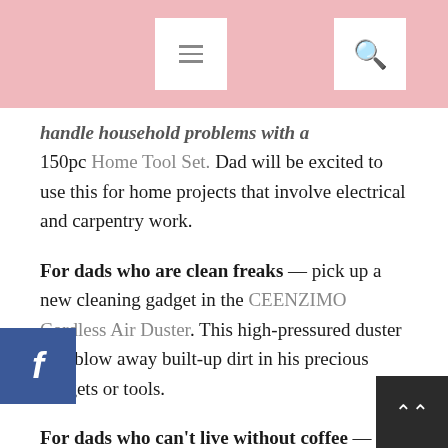[Navigation bar with menu and search icons]
handle household projects with a 150pc Home Tool Set. Dad will be excited to use this for home projects that involve electrical and carpentry work.
For dads who are clean freaks — pick up a new cleaning gadget in the CEENZIMO Cordless Air Duster. This high-pressured duster will blow away built-up dirt in his precious gadgets or tools.
For dads who can't live without coffee — brew a steaming cup of coffee with a new Hoba French Press. Dad will surely be pleased to start the day right with his caffeine fix done via a classic brewing